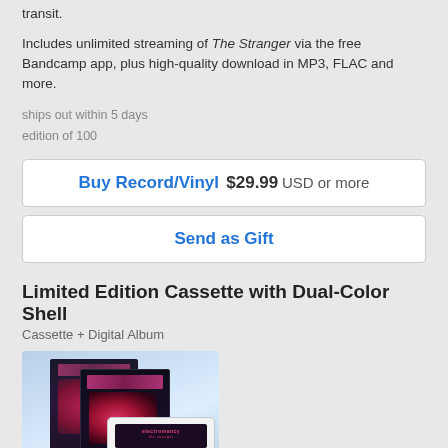transit.
Includes unlimited streaming of The Stranger via the free Bandcamp app, plus high-quality download in MP3, FLAC and more.
ships out within 5 days
edition of 100
Buy Record/Vinyl  $29.99 USD or more
Send as Gift
Limited Edition Cassette with Dual-Color Shell
Cassette + Digital Album
[Figure (photo): Photo of a limited edition cassette tape with dual-color shell alongside album artwork covers, displayed against a light blue gradient background.]
Limited to 25 worldwide!